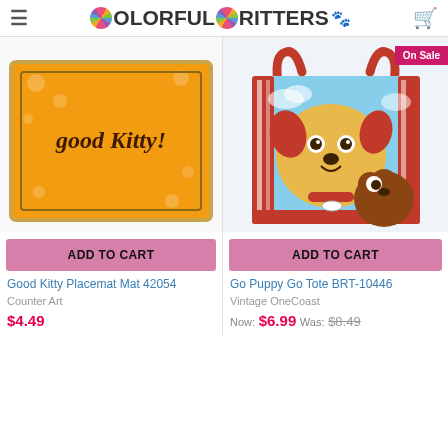Colorful Critters
[Figure (photo): Good Kitty Placemat Mat product photo — orange placemat with 'good Kitty!' text and cat food bowl illustrations]
[Figure (photo): Go Puppy Go Tote BRT-10446 product photo — red-bordered tote bag with cartoon dogs illustration, marked On Sale]
ADD TO CART
ADD TO CART
Good Kitty Placemat Mat 42054
Go Puppy Go Tote BRT-10446
Counter Art
Vintage OneCoast
$4.49
Now: $6.99  Was: $8.49